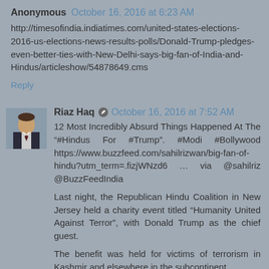Anonymous October 16, 2016 at 6:23 AM
http://timesofindia.indiatimes.com/united-states-elections-2016-us-elections-news-results-polls/Donald-Trump-pledges-even-better-ties-with-New-Delhi-says-big-fan-of-India-and-Hindus/articleshow/54878649.cms
Reply
Riaz Haq October 16, 2016 at 7:52 AM
12 Most Incredibly Absurd Things Happened At The "#Hindus For #Trump". #Modi #Bollywood https://www.buzzfeed.com/sahilrizwan/big-fan-of-hindu?utm_term=.fizjWNzd6 … via @sahilriz @BuzzFeedIndia
Last night, the Republican Hindu Coalition in New Jersey held a charity event titled “Humanity United Against Terror”, with Donald Trump as the chief guest.
The benefit was held for victims of terrorism in Kashmir and elsewhere in the subcontinent.